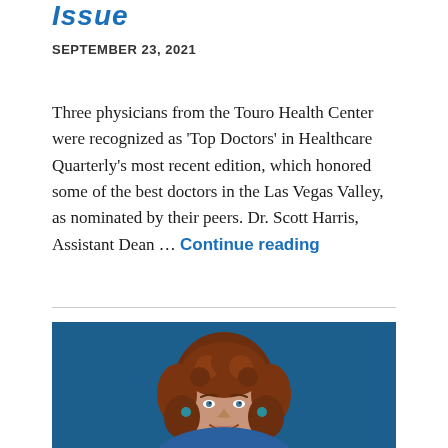Issue
SEPTEMBER 23, 2021
Three physicians from the Touro Health Center were recognized as 'Top Doctors' in Healthcare Quarterly's most recent edition, which honored some of the best doctors in the Las Vegas Valley, as nominated by their peers. Dr. Scott Harris, Assistant Dean … Continue reading
[Figure (photo): Professional headshot of a woman with curly auburn/brown hair, smiling, against a dark blue background. She is wearing blue and appears to be a medical professional.]